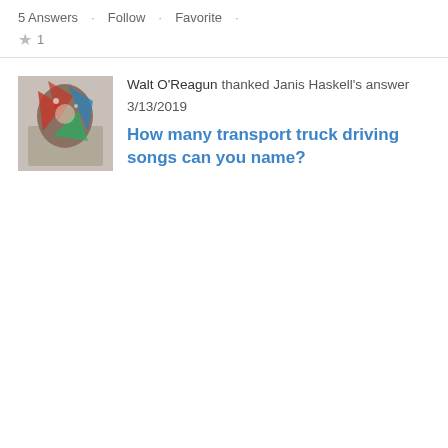5 Answers · Follow · Favorite · ★ 1
Walt O'Reagun thanked Janis Haskell's answer 3/13/2019
[Figure (photo): User avatar photo showing colorful decorative item]
How many transport truck driving songs can you name?